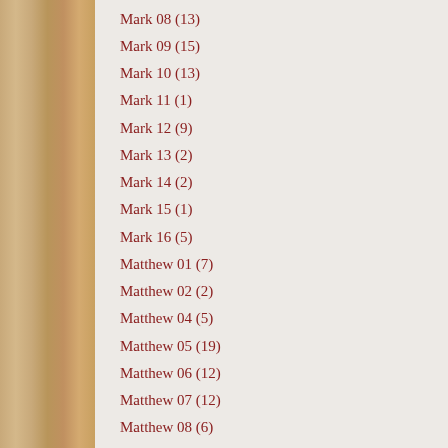Mark 08 (13)
Mark 09 (15)
Mark 10 (13)
Mark 11 (1)
Mark 12 (9)
Mark 13 (2)
Mark 14 (2)
Mark 15 (1)
Mark 16 (5)
Matthew 01 (7)
Matthew 02 (2)
Matthew 04 (5)
Matthew 05 (19)
Matthew 06 (12)
Matthew 07 (12)
Matthew 08 (6)
Matthew 09 (13)
Matthew 10 (5)
Matthew 11 (8)
Matthew 12 (3)
Matthew 13 (6)
Matthew 14 (2)